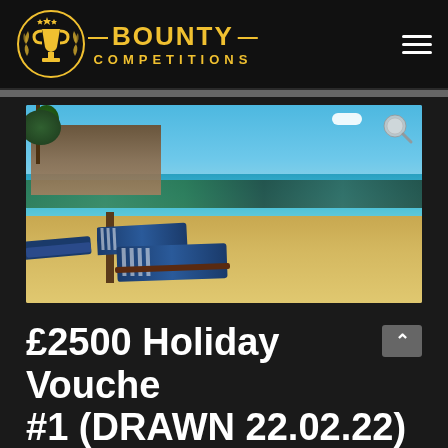[Figure (logo): Bounty Competitions logo with gold trophy icon and laurel wreath, gold text reading BOUNTY COMPETITIONS]
[Figure (photo): Tropical beach scene with thatched umbrella/hut on the left, blue and white striped sun loungers on sandy beach, turquoise sea and blue sky in background, trees along shoreline]
£2500 Holiday Voucher #1 (DRAWN 22.02.22)